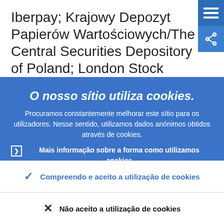Iberpay; Krajowy Depozyt Papierów Wartościowych/The Central Securities Depository of Poland; London Stock Exchange Group (on behalf of LCH SA and
[Figure (screenshot): Blue hamburger menu icon button (three horizontal white lines on blue background)]
[Figure (screenshot): Blue share icon button (share symbol on blue background)]
O nosso sítio utiliza cookies.
Procuramos constantemente melhorar este sítio para os utilizadores. Nesse sentido, utilizamos dados anónimos obtidos através de cookies.
Mais informação sobre a forma como utilizamos cookies
Compreendo e aceito a utilização de cookies
Não aceito a utilização de cookies